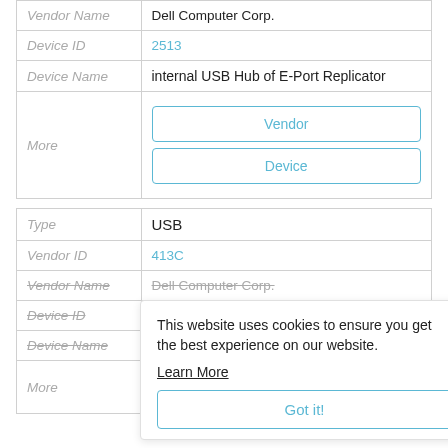| Field | Value |
| --- | --- |
| Vendor Name | Dell Computer Corp. |
| Device ID | 2513 |
| Device Name | internal USB Hub of E-Port Replicator |
| More | Vendor | Device |
| Field | Value |
| --- | --- |
| Type | USB |
| Vendor ID | 413C |
| Vendor Name | Dell Computer Corp. |
| Device ID |  |
| Device Name |  |
| More | Got it! |
This website uses cookies to ensure you get the best experience on our website. Learn More
Got it!